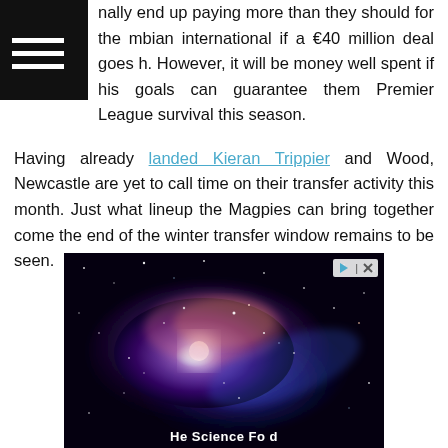nally end up paying more than they should for the mbian international if a €40 million deal goes h. However, it will be money well spent if his goals can guarantee them Premier League survival this season.
Having already landed Kieran Trippier and Wood, Newcastle are yet to call time on their transfer activity this month. Just what lineup the Magpies can bring together come the end of the winter transfer window remains to be seen.
[Figure (photo): Advertisement showing a galaxy/space image with swirling nebula and stars, with ad control icons (play and close) in the top right corner, and partial text caption at the bottom.]